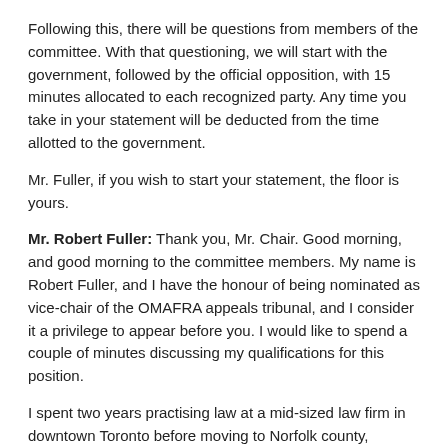Following this, there will be questions from members of the committee. With that questioning, we will start with the government, followed by the official opposition, with 15 minutes allocated to each recognized party. Any time you take in your statement will be deducted from the time allotted to the government.
Mr. Fuller, if you wish to start your statement, the floor is yours.
Mr. Robert Fuller: Thank you, Mr. Chair. Good morning, and good morning to the committee members. My name is Robert Fuller, and I have the honour of being nominated as vice-chair of the OMAFRA appeals tribunal, and I consider it a privilege to appear before you. I would like to spend a couple of minutes discussing my qualifications for this position.
I spent two years practising law at a mid-sized law firm in downtown Toronto before moving to Norfolk county,